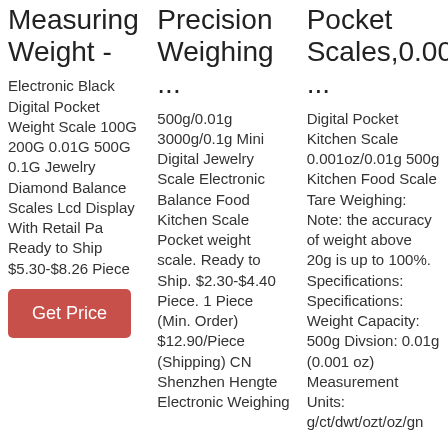Measuring Weight -
Electronic Black Digital Pocket Weight Scale 100G 200G 0.01G 500G 0.1G Jewelry Diamond Balance Scales Lcd Display With Retail Pa Ready to Ship $5.30-$8.26 Piece
Get Price
Precision Weighing ...
500g/0.01g 3000g/0.1g Mini Digital Jewelry Scale Electronic Balance Food Kitchen Scale Pocket weight scale. Ready to Ship. $2.30-$4.40 Piece. 1 Piece (Min. Order) $12.90/Piece (Shipping) CN Shenzhen Hengte Electronic Weighing
Pocket Scales,0.001(0.01g ...
Digital Pocket Kitchen Scale 0.001oz/0.01g 500g Kitchen Food Scale Tare Weighing: Note: the accuracy of weight above 20g is up to 100%. Specifications: Specifications: Weight Capacity: 500g Divsion: 0.01g (0.001 oz) Measurement Units: g/ct/dwt/ozt/oz/gn